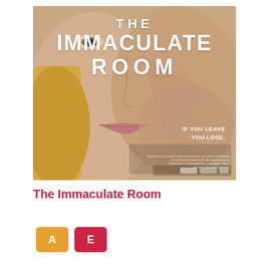[Figure (photo): Movie poster for 'The Immaculate Room' showing close-up faces of a woman (blonde) and a man overlapping, with bold white title text 'THE IMMACULATE ROOM' at top, and tagline 'IF YOU LEAVE YOU LOSE.' on the right side.]
The Immaculate Room
A  E